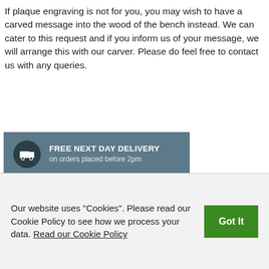If plaque engraving is not for you, you may wish to have a carved message into the wood of the bench instead. We can cater to this request and if you inform us of your message, we will arrange this with our carver. Please do feel free to contact us with any queries.
[Figure (infographic): Grey banner with dark circle icon showing a delivery truck. Text: FREE NEXT DAY DELIVERY on orders placed before 2pm]
[Figure (infographic): Grey banner with dark circle icon showing a thumbs up. Text: 12 MONTH WARRANTY on our entire product range]
Our website uses "Cookies". Please read our Cookie Policy to see how we process your data. Read our Cookie Policy